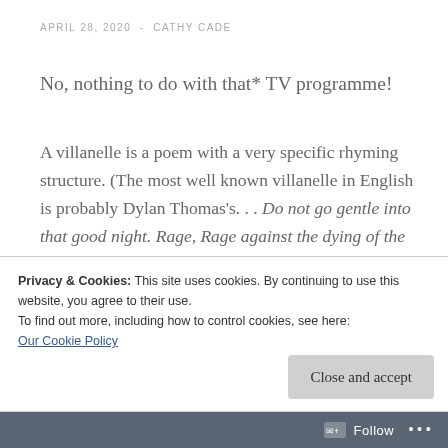APRIL 28, 2020  -  CATHY CADE
No, nothing to do with that* TV programme!
A villanelle is a poem with a very specific rhyming structure. (The most well known villanelle in English is probably Dylan Thomas's. . . Do not go gentle into that good night. Rage, Rage against the dying of the light.)
I have taken up the challenge to write 12 poems
Privacy & Cookies: This site uses cookies. By continuing to use this website, you agree to their use.
To find out more, including how to control cookies, see here:
Our Cookie Policy
Follow